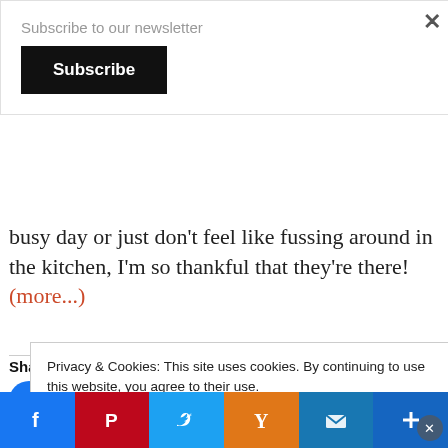Subscribe to our newsletter
Subscribe
busy day or just don't feel like fussing around in the kitchen, I'm so thankful that they're there! (more...)
Share this:
[Figure (infographic): Row of social share icon circles: Facebook (blue), Pinterest (red, badge 5), Twitter (blue), Yummly (light gray/orange Y), Reddit (light gray), Email (gray envelope)]
Privacy & Cookies: This site uses cookies. By continuing to use this website, you agree to their use.
To find out more, including how to control cookies, see here: Cookie Policy
Close and accept
[Figure (infographic): Bottom social sharing bar with buttons: Facebook (blue f), Pinterest (red P), Twitter (blue bird), Yummly (orange Y), Email (blue envelope), More (blue plus). A close button at bottom right.]